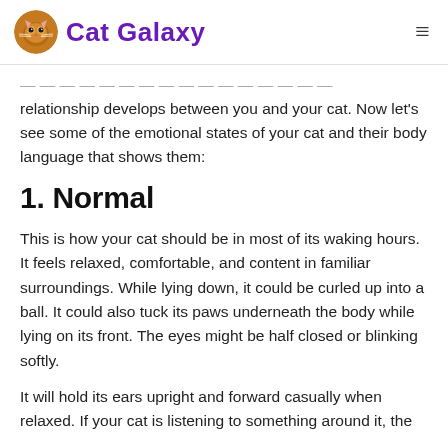Cat Galaxy
relationship develops between you and your cat. Now let's see some of the emotional states of your cat and their body language that shows them:
1. Normal
This is how your cat should be in most of its waking hours. It feels relaxed, comfortable, and content in familiar surroundings. While lying down, it could be curled up into a ball. It could also tuck its paws underneath the body while lying on its front. The eyes might be half closed or blinking softly.
It will hold its ears upright and forward casually when relaxed. If your cat is listening to something around it, the